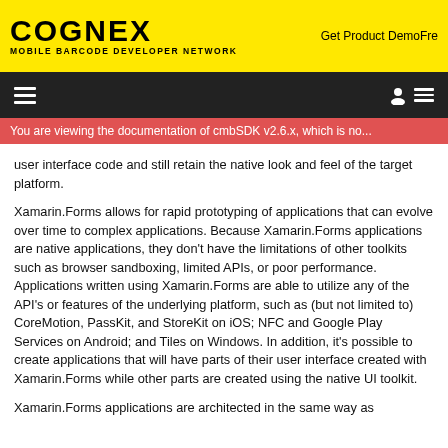COGNEX MOBILE BARCODE DEVELOPER NETWORK
Get Product DemoFre
You are viewing the documentation of cmbSDK v2.6.x, which is no...
user interface code and still retain the native look and feel of the target platform.
Xamarin.Forms allows for rapid prototyping of applications that can evolve over time to complex applications. Because Xamarin.Forms applications are native applications, they don't have the limitations of other toolkits such as browser sandboxing, limited APIs, or poor performance. Applications written using Xamarin.Forms are able to utilize any of the API's or features of the underlying platform, such as (but not limited to) CoreMotion, PassKit, and StoreKit on iOS; NFC and Google Play Services on Android; and Tiles on Windows. In addition, it's possible to create applications that will have parts of their user interface created with Xamarin.Forms while other parts are created using the native UI toolkit.
Xamarin.Forms applications are architected in the same way as